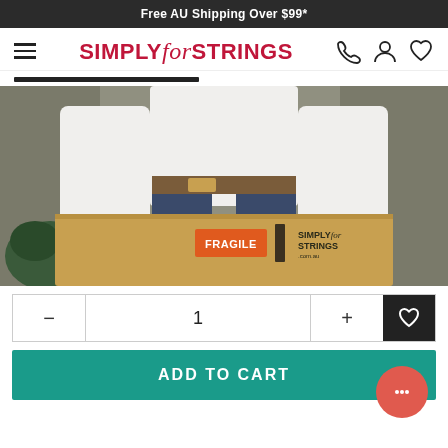Free AU Shipping Over $99*
[Figure (logo): Simply for Strings logo with hamburger menu and navigation icons (phone, user, heart)]
[Figure (photo): Person holding a large Simply for Strings branded brown paper bag with FRAGILE sticker, standing at a doorway]
— 1 + ♡
ADD TO CART